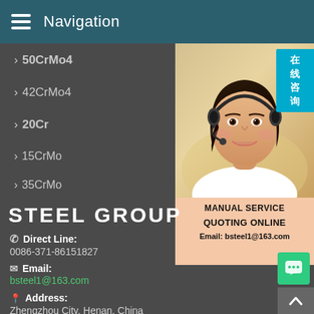Navigation
> 50CrMo4
> 51CrV
> 42CrMo4
> 12Cr1
> 20Cr
> 40Cr
> 15CrMo
> 30CrMo
> 35CrMo
> 42CrMo
[Figure (photo): Customer service representative wearing headset, with Chinese text badge '在线咨询' and service panel showing MANUAL SERVICE QUOTING ONLINE Email: bsteel1@163.com]
STEEL GROUP
Direct Line: 0086-371-86151827
Email: bsteel1@163.com
Address: Zhengzhou City, Henan, China